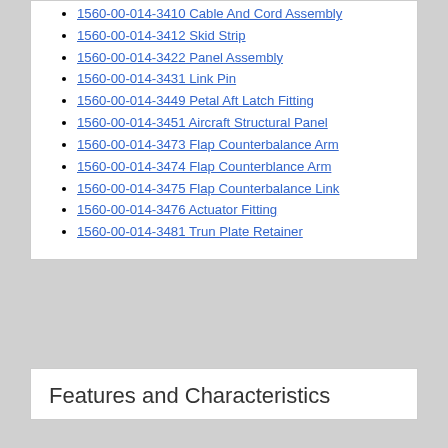1560-00-014-3410 Cable And Cord Assembly
1560-00-014-3412 Skid Strip
1560-00-014-3422 Panel Assembly
1560-00-014-3431 Link Pin
1560-00-014-3449 Petal Aft Latch Fitting
1560-00-014-3451 Aircraft Structural Panel
1560-00-014-3473 Flap Counterbalance Arm
1560-00-014-3474 Flap Counterblance Arm
1560-00-014-3475 Flap Counterbalance Link
1560-00-014-3476 Actuator Fitting
1560-00-014-3481 Trun Plate Retainer
Features and Characteristics